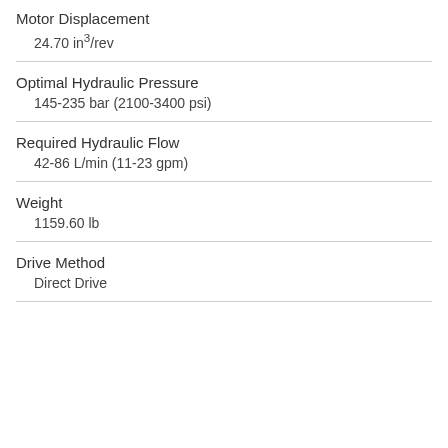Motor Displacement
24.70 in³/rev
Optimal Hydraulic Pressure
145-235 bar (2100-3400 psi)
Required Hydraulic Flow
42-86 L/min (11-23 gpm)
Weight
1159.60 lb
Drive Method
Direct Drive